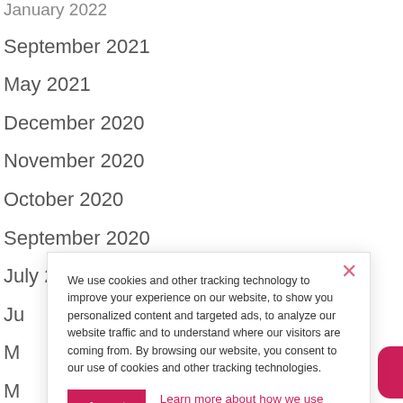January 2022 (partial/cut off at top)
September 2021
May 2021
December 2020
November 2020
October 2020
September 2020
July 2020
Ju... (partially obscured)
M... (partially obscured)
M... (partially obscured)
Fe... (partially obscured)
Ja... (partially obscured)
D... (partially obscured)
N... (partially obscured)
We use cookies and other tracking technology to improve your experience on our website, to show you personalized content and targeted ads, to analyze our website traffic and to understand where our visitors are coming from. By browsing our website, you consent to our use of cookies and other tracking technologies.
Accept
Learn more about how we use cookies.